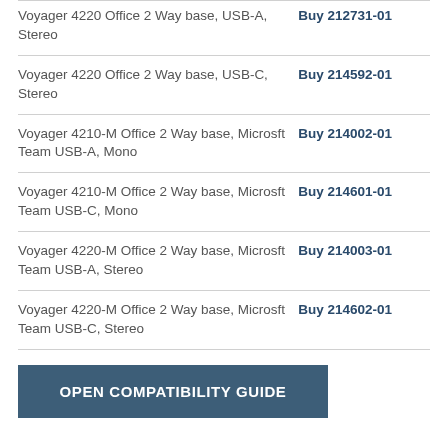| Product | Action |
| --- | --- |
| Voyager 4220 Office 2 Way base, USB-A, Stereo | Buy 212731-01 |
| Voyager 4220 Office 2 Way base, USB-C, Stereo | Buy 214592-01 |
| Voyager 4210-M Office 2 Way base, Microsft Team USB-A, Mono | Buy 214002-01 |
| Voyager 4210-M Office 2 Way base, Microsft Team USB-C, Mono | Buy 214601-01 |
| Voyager 4220-M Office 2 Way base, Microsft Team USB-A, Stereo | Buy 214003-01 |
| Voyager 4220-M Office 2 Way base, Microsft Team USB-C, Stereo | Buy 214602-01 |
OPEN COMPATIBILITY GUIDE